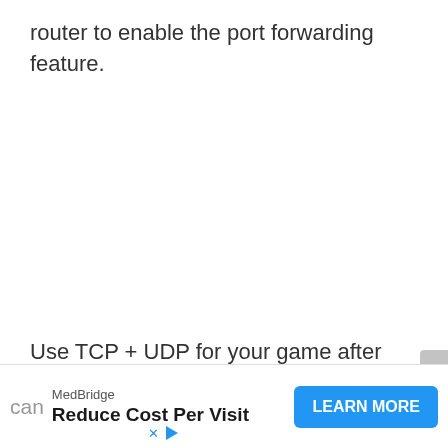router to enable the port forwarding feature.
Use TCP + UDP for your game after entering the IP address. For the start and end ports, you can
[Figure (screenshot): Advertisement banner: MedBridge - Reduce Cost Per Visit - LEARN MORE button]